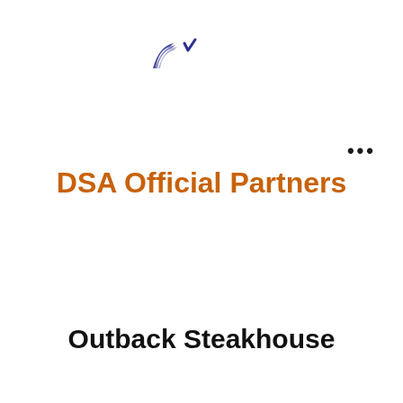[Figure (logo): DSA logo mark — two dark blue stylized shapes (a wing and a chevron/check mark)]
•••
DSA Official Partners
Outback Steakhouse